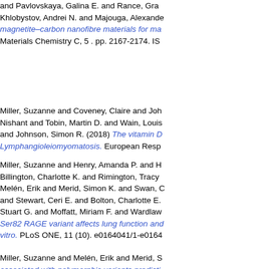and Pavlovskaya, Galina E. and Rance, Gra... Khlobystov, Andrei N. and Majouga, Alexande... magnetite–carbon nanofibre materials for ma... Materials Chemistry C, 5 . pp. 2167-2174. IS...
Miller, Suzanne and Coveney, Claire and Joh... Nishant and Tobin, Martin D. and Wain, Louis... and Johnson, Simon R. (2018) The vitamin D... Lymphangioleiomyomatosis. European Resp...
Miller, Suzanne and Henry, Amanda P. and H... Billington, Charlotte K. and Rimington, Tracy... Melén, Erik and Merid, Simon K. and Swan, C... and Stewart, Ceri E. and Bolton, Charlotte E.... Stuart G. and Moffatt, Miriam F. and Wardlaw... Ser82 RAGE variant affects lung function and... vitro. PLoS ONE, 11 (10). e0164041/1-e0164...
Miller, Suzanne and Melén, Erik and Merid, S... associated with polymorphic variants predicti... human lung development. Respiratory Resea...
Mohan, Divya and Forman, Julia R. and Allin... Charlotte Emma and Cockcroft, John R. and... Mellone and Gale, Nichola Sian and Fisk, Ma... Lomas, David A. and Calverley, Peter M.A. a... Ian B. and Polkey,, Michael I. (2018) Fibrinog... manifestations in COPD: cross-sectional data...